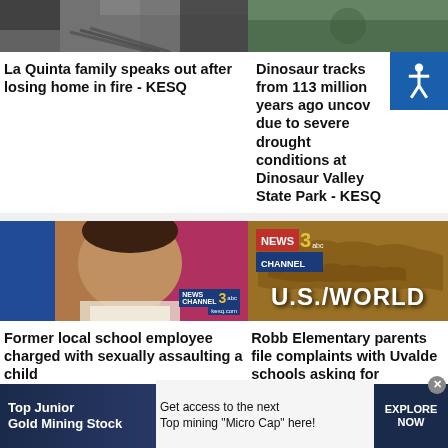[Figure (photo): Partial image of a person at top left]
[Figure (photo): Outdoor nature/landscape image at top right]
La Quinta family speaks out after losing home in fire - KESQ
Dinosaur tracks from 113 million years ago uncov due to severe drought conditions at Dinosaur Valley State Park - KESQ
[Figure (photo): Mugshot of an older woman, News Channel 3 watermark bottom right]
[Figure (logo): News Channel 3 ABC U.S./WORLD graphic with world map background]
Former local school employee charged with sexually assaulting a child
Robb Elementary parents file complaints with Uvalde schools asking for
[Figure (infographic): Advertisement: Top Junior Gold Mining Stock - Get access to the next Top mining Micro Cap here! - EXPLORE NOW]